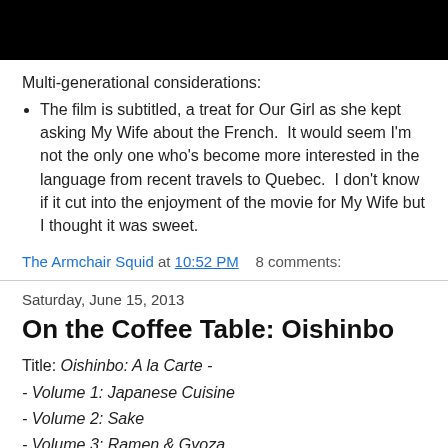[Figure (photo): Black bar / dark image at top of page]
Multi-generational considerations:
The film is subtitled, a treat for Our Girl as she kept asking My Wife about the French.  It would seem I'm not the only one who's become more interested in the language from recent travels to Quebec.  I don't know if it cut into the enjoyment of the movie for My Wife but I thought it was sweet.
The Armchair Squid at 10:52 PM    8 comments:
Saturday, June 15, 2013
On the Coffee Table: Oishinbo
Title: Oishinbo: A la Carte -
- Volume 1: Japanese Cuisine
- Volume 2: Sake
- Volume 3: Ramen & Gyoza